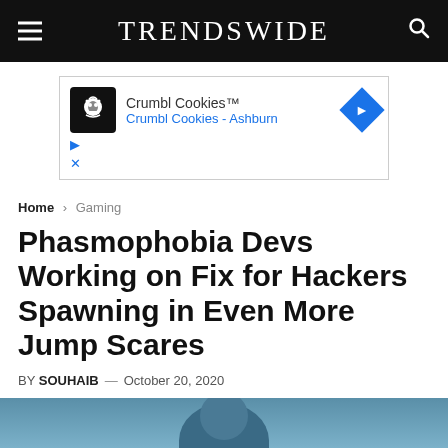TrendsWide
[Figure (screenshot): Advertisement banner for Crumbl Cookies with logo, text 'Crumbl Cookies™', 'Crumbl Cookies - Ashburn', a blue diamond arrow button, and small play/close controls]
Home › Gaming
Phasmophobia Devs Working on Fix for Hackers Spawning in Even More Jump Scares
BY SOUHAIB — October 20, 2020
[Figure (photo): Partial photo showing what appears to be a person, cropped at bottom of page with blue/grey tones]